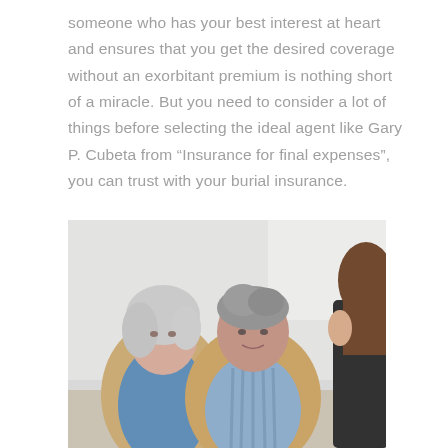someone who has your best interest at heart and ensures that you get the desired coverage without an exorbitant premium is nothing short of a miracle. But you need to consider a lot of things before selecting the ideal agent like Gary P. Cubeta from “Insurance for final expenses”, you can trust with your burial insurance.
[Figure (photo): An elderly couple (woman with white hair wearing a blue shirt under a tan jacket, man with grey hair wearing a striped shirt under a tan jacket) sitting together and looking toward a young woman with brown hair visible from behind, presumably an insurance agent.]